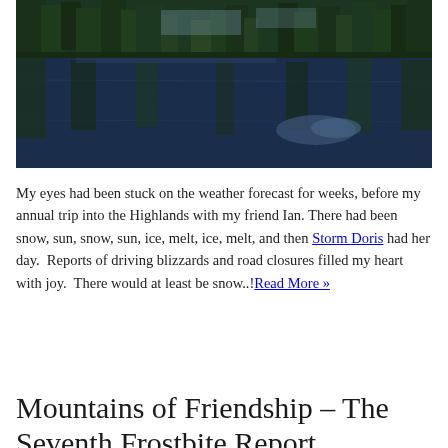[Figure (photo): A lake reflecting trees and sky, forested shoreline at top, calm dark blue water below with cloud reflections]
My eyes had been stuck on the weather forecast for weeks, before my annual trip into the Highlands with my friend Ian. There had been snow, sun, snow, sun, ice, melt, ice, melt, and then Storm Doris had her day.  Reports of driving blizzards and road closures filled my heart with joy.  There would at least be snow..!Read More »
Mountains of Friendship – The Seventh Frostbite Report